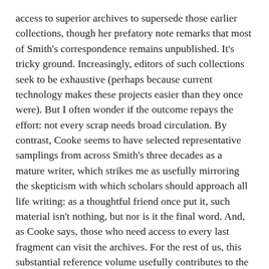access to superior archives to supersede those earlier collections, though her prefatory note remarks that most of Smith's correspondence remains unpublished. It's tricky ground. Increasingly, editors of such collections seek to be exhaustive (perhaps because current technology makes these projects easier than they once were). But I often wonder if the outcome repays the effort: not every scrap needs broad circulation. By contrast, Cooke seems to have selected representative samplings from across Smith's three decades as a mature writer, which strikes me as usefully mirroring the skepticism with which scholars should approach all life writing: as a thoughtful friend once put it, such material isn't nothing, but nor is it the final word. And, as Cooke says, those who need access to every last fragment can visit the archives. For the rest of us, this substantial reference volume usefully contributes to the historicisation of the 1950s and 1960s and to the fathoming of that era's persistent chaos, never more profound than when it seemed most calm.
Charles Reeve is associate professor in Liberal Arts and Sciences and Art at OCAD University and was president of the Universities Art Association of Canada/L'Association d'art des universités du Canada from 2016 to 2018.